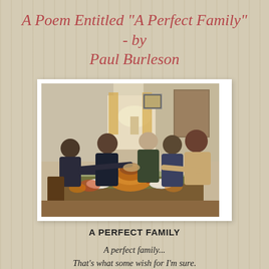A Poem Entitled "A Perfect Family" - by Paul Burleson
[Figure (photo): A family gathered around a Thanksgiving dinner table, holding hands and passing food, with a large roasted turkey as centerpiece.]
A PERFECT FAMILY
A perfect family...
That's what some wish for I'm sure.
But in my mind...